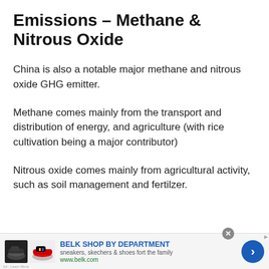Emissions – Methane & Nitrous Oxide
China is also a notable major methane and nitrous oxide GHG emitter.
Methane comes mainly from the transport and distribution of energy, and agriculture (with rice cultivation being a major contributor)
Nitrous oxide comes mainly from agricultural activity, such as soil management and fertilzer.